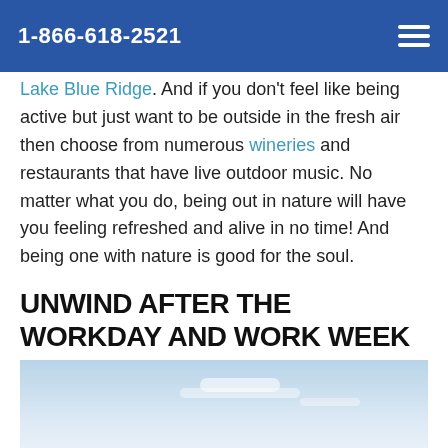1-866-618-2521
Lake Blue Ridge. And if you don't feel like being active but just want to be outside in the fresh air then choose from numerous wineries and restaurants that have live outdoor music. No matter what you do, being out in nature will have you feeling refreshed and alive in no time! And being one with nature is good for the soul.
UNWIND AFTER THE WORKDAY AND WORK WEEK
[Figure (photo): Sky and mountain landscape photo, light blue sky with soft clouds]